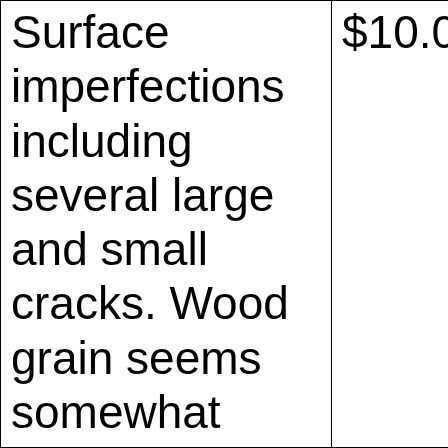| Surface imperfections including several large and small cracks. Wood grain seems somewhat | $10.00 |